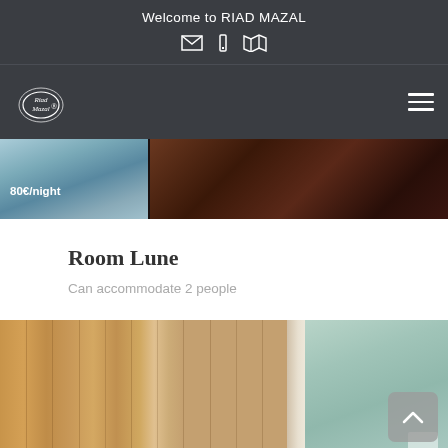Welcome to RIAD MAZAL
[Figure (logo): Riad Mazal circular logo in white on dark background]
[Figure (photo): Room photo strip showing a teal/blue room on the left with price tag '80€/night' and a dark reddish-brown room on the right]
Room Lune
Can accommodate 2 people
[Figure (photo): Room photo showing warm beige/golden curtains on the left side and a light green/teal bathroom area on the right side, with a scroll-to-top button overlay]